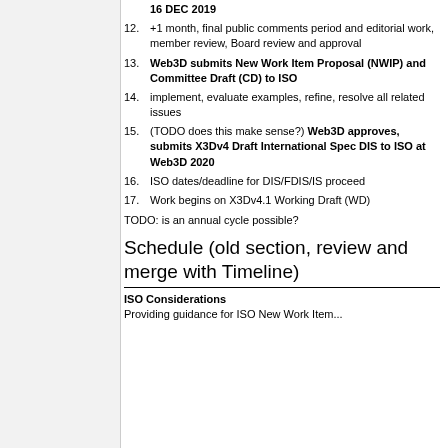12. +1 month, final public comments period and editorial work, member review, Board review and approval
13. Web3D submits New Work Item Proposal (NWIP) and Committee Draft (CD) to ISO
14. implement, evaluate examples, refine, resolve all related issues
15. (TODO does this make sense?) Web3D approves, submits X3Dv4 Draft International Spec DIS to ISO at Web3D 2020
16. ISO dates/deadline for DIS/FDIS/IS proceed
17. Work begins on X3Dv4.1 Working Draft (WD)
TODO: is an annual cycle possible?
Schedule (old section, review and merge with Timeline)
ISO Considerations
Providing guidance for ISO New Work Item...